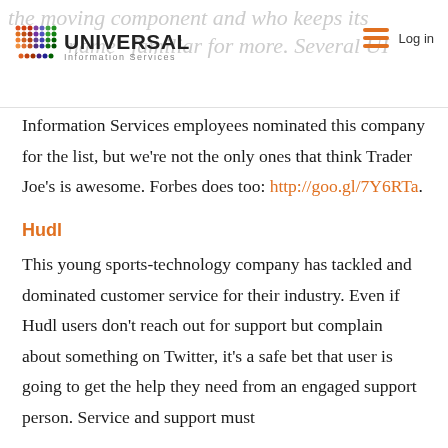Universal Information Services — Log in
Information Services employees nominated this company for the list, but we're not the only ones that think Trader Joe's is awesome. Forbes does too: http://goo.gl/7Y6RTa.
Hudl
This young sports-technology company has tackled and dominated customer service for their industry. Even if Hudl users don't reach out for support but complain about something on Twitter, it's a safe bet that user is going to get the help they need from an engaged support person. Service and support must